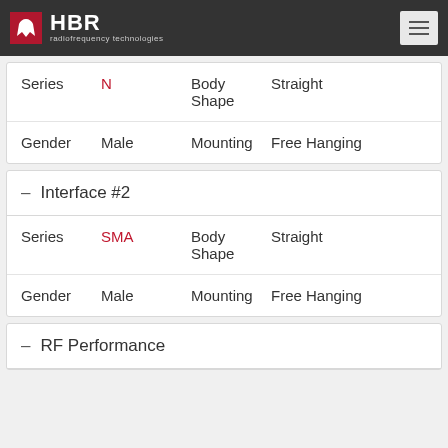HBR radiofrequency technologies
| Label | Value | Label2 | Value2 |
| --- | --- | --- | --- |
| Series | N | Body Shape | Straight |
| Gender | Male | Mounting | Free Hanging |
– Interface #2
| Label | Value | Label2 | Value2 |
| --- | --- | --- | --- |
| Series | SMA | Body Shape | Straight |
| Gender | Male | Mounting | Free Hanging |
– RF Performance